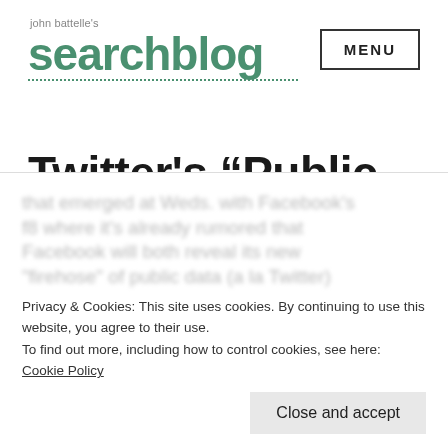john battelle's searchblog
Twitter’s “Public Interest Graph”
It’s been a few days since Chirp, and I’ve had some time to digest all the news that emerged at Weds. with Facebook’s f8 where it’s already rumored that Facebook will both reveal its new “firehose” of public data (a la Twitter)
Privacy & Cookies: This site uses cookies. By continuing to use this website, you agree to their use.
To find out more, including how to control cookies, see here: Cookie Policy